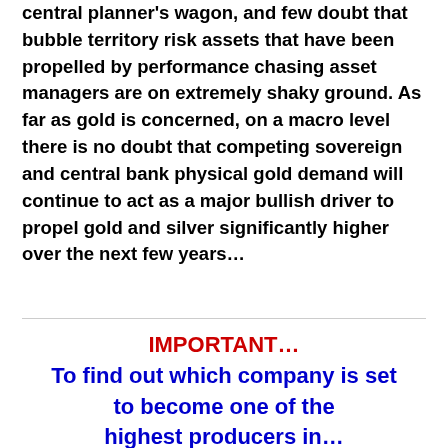central planner's wagon, and few doubt that bubble territory risk assets that have been propelled by performance chasing asset managers are on extremely shaky ground. As far as gold is concerned, on a macro level there is no doubt that competing sovereign and central bank physical gold demand will continue to act as a major bullish driver to propel gold and silver significantly higher over the next few years…
IMPORTANT… To find out which company is set to become one of the highest producers in…